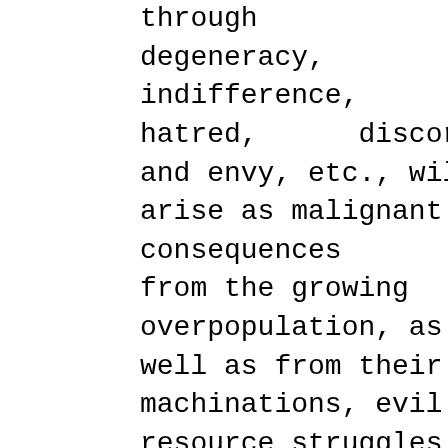through degeneracy, indifference, hatred, discord and envy, etc., will arise as malignant consequences from the growing overpopulation, as well as from their machinations, evil resource struggles between states will arise and lead to war and armed conflicts. The rapidly increasing technical development as a phenomenon of